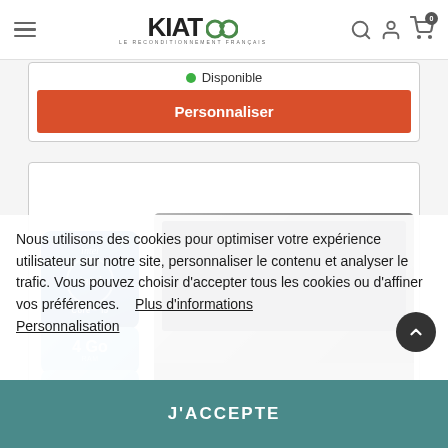KIATOO - LE RECONDITIONNEMENT FRANÇAIS
● Disponible
Personnaliser
[Figure (screenshot): Product card with Intel Core i5 badge, RAM badge, 500Go HDD badge, and laptop image]
Nous utilisons des cookies pour optimiser votre expérience utilisateur sur notre site, personnaliser le contenu et analyser le trafic. Vous pouvez choisir d'accepter tous les cookies ou d'affiner vos préférences.    Plus d'informations Personnalisation
J'ACCEPTE